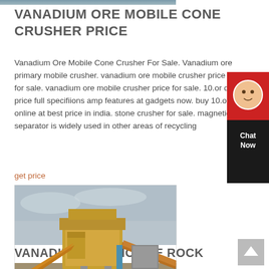[Figure (photo): Partial view of machinery at top of page (cropped)]
VANADIUM ORE MOBILE CONE CRUSHER PRICE
Vanadium Ore Mobile Cone Crusher For Sale. Vanadium ore primary mobile crusher. vanadium ore mobile crusher price for sale. vanadium ore mobile crusher price for sale. 10.or d price full specifiions amp features at gadgets now. buy 10.or d online at best price in india. stone crusher for sale. magnetic separator is widely used in other areas of recycling
get price
[Figure (photo): Photograph of a mobile ore crushing plant with orange/yellow conveyor belts and machinery on a dirt site under a cloudy sky]
VANADIUM ORE MOBILE ROCK